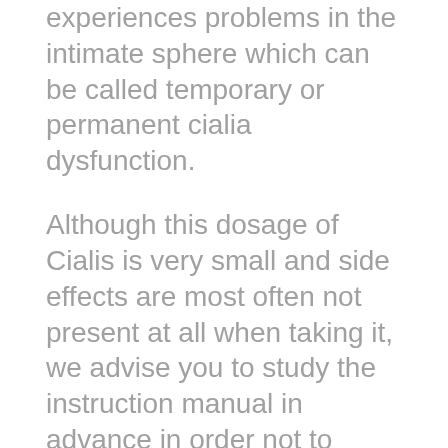experiences problems in the intimate sphere which can be called temporary or permanent cialia dysfunction.
Although this dosage of Cialis is very small and side effects are most often not present at all when taking it, we advise you to study the instruction manual in advance in order not to panic if you suddenly feel your heartbeat or a slight headache after the intake. There are many ways to get there. Netvibes may use cookies or other tracking